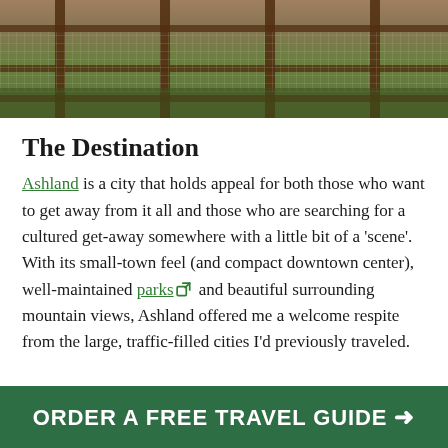[Figure (photo): Outdoor animal enclosure with wooden frame and wire mesh fencing, with foliage visible in the background]
The Destination
Ashland is a city that holds appeal for both those who want to get away from it all and those who are searching for a cultured get-away somewhere with a little bit of a ‘scene’. With its small-town feel (and compact downtown center), well-maintained parks and beautiful surrounding mountain views, Ashland offered me a welcome respite from the large, traffic-filled cities I’d previously traveled.
ORDER A FREE TRAVEL GUIDE →